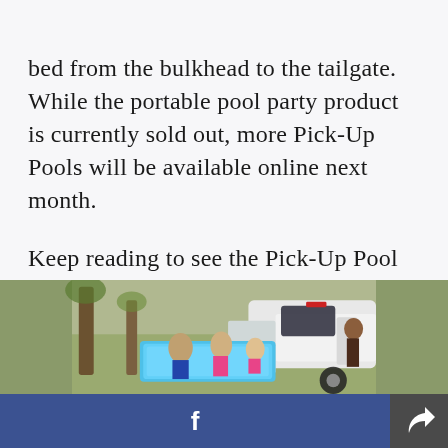bed from the bulkhead to the tailgate. While the portable pool party product is currently sold out, more Pick-Up Pools will be available online next month.

Keep reading to see the Pick-Up Pool in action.
[Figure (photo): Children in a blue pick-up truck bed pool in a rural outdoor setting with trees in background, white truck visible]